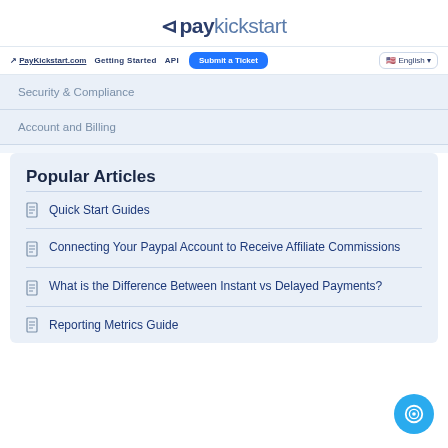paykickstart
PayKickstart.com  Getting Started  API  Submit a Ticket  English
Security & Compliance
Account and Billing
Popular Articles
Quick Start Guides
Connecting Your Paypal Account to Receive Affiliate Commissions
What is the Difference Between Instant vs Delayed Payments?
Reporting Metrics Guide